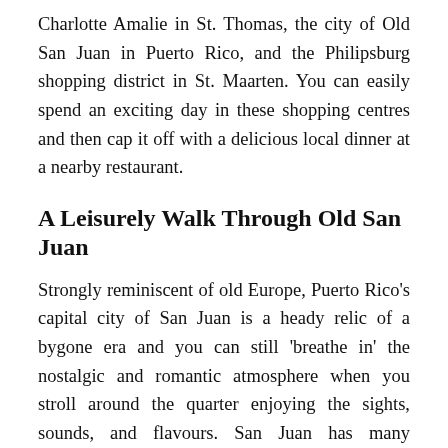Charlotte Amalie in St. Thomas, the city of Old San Juan in Puerto Rico, and the Philipsburg shopping district in St. Maarten. You can easily spend an exciting day in these shopping centres and then cap it off with a delicious local dinner at a nearby restaurant.
A Leisurely Walk Through Old San Juan
Strongly reminiscent of old Europe, Puerto Rico's capital city of San Juan is a heady relic of a bygone era and you can still 'breathe in' the nostalgic and romantic atmosphere when you stroll around the quarter enjoying the sights, sounds, and flavours. San Juan has many attractions that make it one of the best destinations for Caribbean honeymoons starting with the birthplace of the world-famous drink called pina colada. Taste it at the Barrachina restaurant, which is said to have concocted the drink the first time in 1963. There are also many other dining options